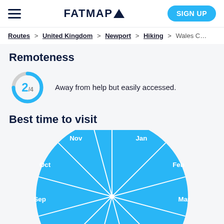FATMAP — SIGN UP
Routes > United Kingdom > Newport > Hiking > Wales C…
Remoteness
[Figure (donut-chart): Donut gauge showing 2 out of 4 remoteness score, with approximately half the ring filled in blue and the other half in light grey.]
Away from help but easily accessed.
Best time to visit
[Figure (pie-chart): Pie/wheel chart showing best months to visit. All visible slices are blue (good months): Dec, Jan, Feb, Mar, Oct, Nov visible; partial slices of Sep and Apr at bottom edge. White dividing lines separate each month slice emanating from center.]